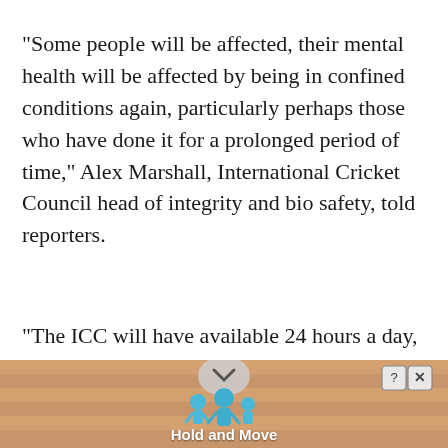"Some people will be affected, their mental health will be affected by being in confined conditions again, particularly perhaps those who have done it for a prolonged period of time," Alex Marshall, International Cricket Council head of integrity and bio safety, told reporters.
"The ICC will have available 24 hours a day, a psychologist to speak to any individual who seeks
[Figure (screenshot): Mobile advertisement banner at the bottom showing 'Hold and Move' app/game with cartoon figures and a scroll/chevron down indicator. Has close (X) and help (?) buttons in top right corner.]